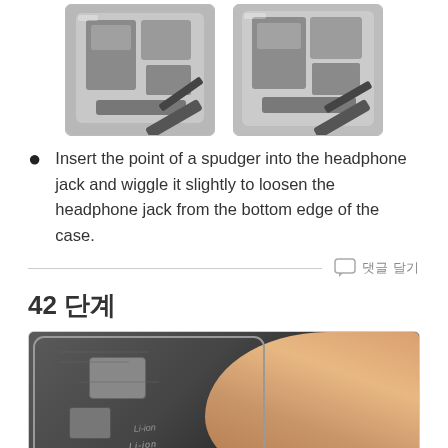[Figure (photo): Two side-by-side close-up photos of a spudger being inserted into the headphone jack area of an iPhone, shown from slightly different angles.]
Insert the point of a spudger into the headphone jack and wiggle it slightly to loosen the headphone jack from the bottom edge of the case.
42 단계
[Figure (photo): Close-up photo of the inside of an iPhone showing internal components including battery and connectors, with a finger pressing on the battery.]